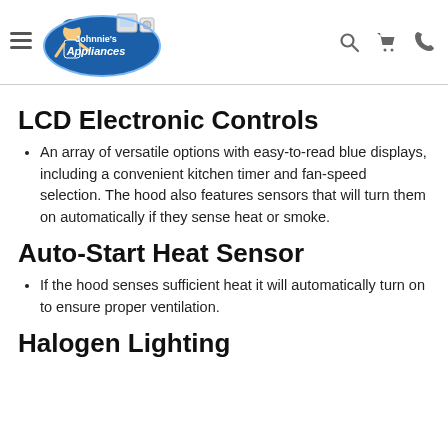Johnnie's Appliances — navigation header with logo, hamburger menu, search, cart, and phone icons
LCD Electronic Controls
An array of versatile options with easy-to-read blue displays, including a convenient kitchen timer and fan-speed selection. The hood also features sensors that will turn them on automatically if they sense heat or smoke.
Auto-Start Heat Sensor
If the hood senses sufficient heat it will automatically turn on to ensure proper ventilation.
Halogen Lighting